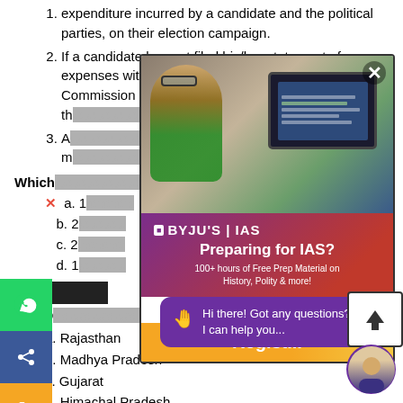expenditure incurred by a candidate and the political parties, on their election campaign.
If a candidate has not filed his/her statement of expenses within the required time period, the Election Commission after consultation with the President, has the power to disqualify the person for a period of...
A candidate who is found guilty of a corrupt practice... may be disqualified for a period not...
Which of the above statements is/are correct?
a. 1
b. 2
c. 2 and 3
d. 1, 2 and 3
[Figure (screenshot): BYJU'S IAS promotional popup overlay with tablet image, logo, 'Preparing for IAS?' heading, '100+ hours of Free Prep Material on History, Polity & more!' text, and Register button]
[Figure (screenshot): Chat bubble saying 'Hi there! Got any questions? I can help you...' from BYJU'S IAS assistant]
HECK
Q3. [question text partially visible]
a. Rajasthan
b. Madhya Pradesh
c. Gujarat
d. Himachal Pradesh